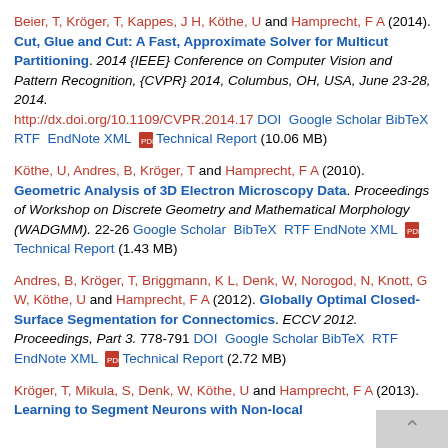Beier, T, Kröger, T, Kappes, J H, Köthe, U and Hamprecht, F A (2014). Cut, Glue and Cut: A Fast, Approximate Solver for Multicut Partitioning. 2014 {IEEE} Conference on Computer Vision and Pattern Recognition, {CVPR} 2014, Columbus, OH, USA, June 23-28, 2014. http://dx.doi.org/10.1109/CVPR.2014.17 DOI Google Scholar BibTeX RTF EndNote XML [pdf] Technical Report (10.06 MB)
Köthe, U, Andres, B, Kröger, T and Hamprecht, F A (2010). Geometric Analysis of 3D Electron Microscopy Data. Proceedings of Workshop on Discrete Geometry and Mathematical Morphology (WADGMM). 22-26 Google Scholar BibTeX RTF EndNote XML [pdf] Technical Report (1.43 MB)
Andres, B, Kröger, T, Briggmann, K L, Denk, W, Norogod, N, Knott, G W, Köthe, U and Hamprecht, F A (2012). Globally Optimal Closed-Surface Segmentation for Connectomics. ECCV 2012. Proceedings, Part 3. 778-791 DOI Google Scholar BibTeX RTF EndNote XML [pdf] Technical Report (2.72 MB)
Kröger, T, Mikula, S, Denk, W, Köthe, U and Hamprecht, F A (2013). Learning to Segment Neurons with Non-local...